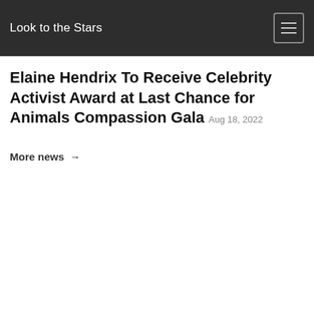Look to the Stars
Elaine Hendrix To Receive Celebrity Activist Award at Last Chance for Animals Compassion Gala Aug 18, 2022
More news →